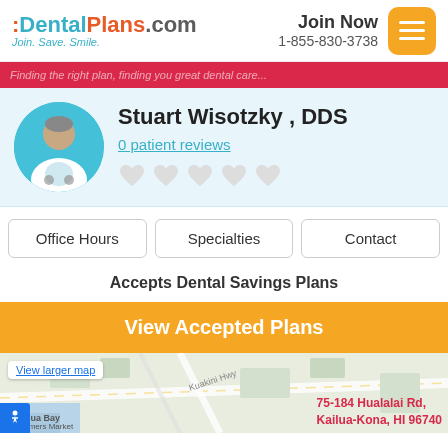DentalPlans.com — Join. Save. Smile. | Join Now 1-855-830-3738
[Figure (screenshot): Red banner with partially visible promotional text]
[Figure (photo): Generic doctor/dentist avatar icon in teal circle]
Stuart Wisotzky , DDS
0 patient reviews
[Figure (illustration): Five heart rating icons in light gray (empty/no rating)]
Office Hours
Specialties
Contact
Accepts Dental Savings Plans
View Accepted Plans
[Figure (map): Google Maps screenshot showing Kailua-Kona area with red marker pin at 75-184 Hualalai Rd, Kailua-Kona, HI 96740. Shows Kailua Bay, Farmers Market, Hulihe'o Palace area. Has 'View larger map' overlay and address label.]